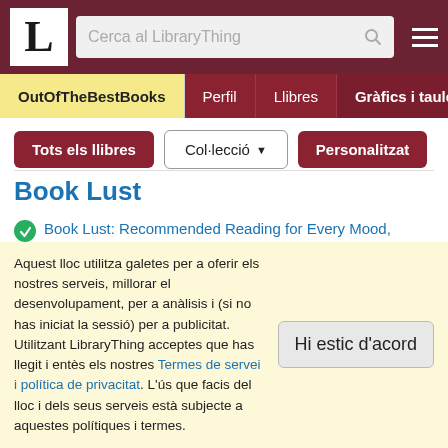LibraryThing header with logo, search bar, and navigation
OutOfTheBestBooks | Perfil | Llibres | Gràfics i taules | Res
Tots els llibres | Col·lecció | Personalitzat
Book Lust
Book Lust: Recommended Reading for Every Mood, Moment, and Reason de Nancy Pearl (1)
More Book Lust: Recommended Reading for Every Mood, Moment, and Reason de Nancy Pearl (2)
Book Crush: For Kids and Teens--Recommended Reading for
Aquest lloc utilitza galetes per a oferir els nostres serveis, millorar el desenvolupament, per a anàlisis i (si no has iniciat la sessió) per a publicitat. Utilitzant LibraryThing acceptes que has llegit i entès els nostres Termes de servei i política de privacitat. L'ús que facis del lloc i dels seus serveis està subjecte a aquestes polítiques i termes.
Hi estic d'acord